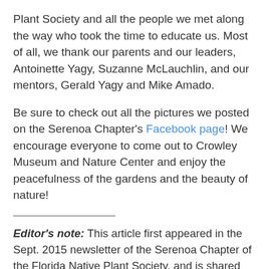Plant Society and all the people we met along the way who took the time to educate us. Most of all, we thank our parents and our leaders, Antoinette Yagy, Suzanne McLauchlin, and our mentors, Gerald Yagy and Mike Amado.
Be sure to check out all the pictures we posted on the Serenoa Chapter's Facebook page! We encourage everyone to come out to Crowley Museum and Nature Center and enjoy the peacefulness of the gardens and the beauty of nature!
Editor's note: This article first appeared in the Sept. 2015 newsletter of the Serenoa Chapter of the Florida Native Plant Society, and is shared here with their permission.